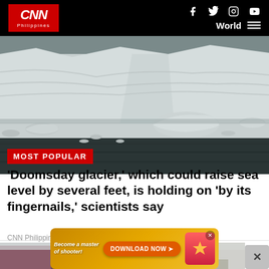CNN Philippines — World
[Figure (photo): Black and white photograph of a glacier with icebergs floating in dark water, large ice cliffs in the background]
MOST POPULAR
'Doomsday glacier,' which could raise sea level by several feet, is holding on 'by its fingernails,' scientists say
CNN Philippines
[Figure (photo): A residential street scene with trees and houses, partially obscured]
[Figure (other): Advertisement banner: Become a master of shooter! DOWNLOAD NOW with game imagery]